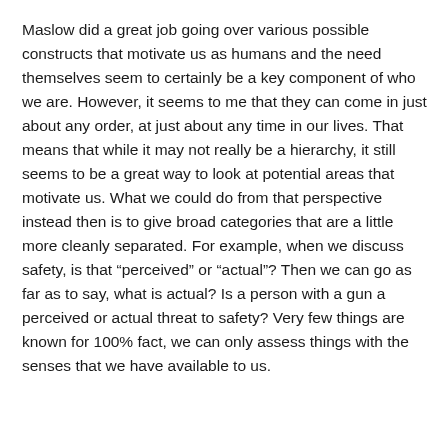Maslow did a great job going over various possible constructs that motivate us as humans and the need themselves seem to certainly be a key component of who we are. However, it seems to me that they can come in just about any order, at just about any time in our lives. That means that while it may not really be a hierarchy, it still seems to be a great way to look at potential areas that motivate us. What we could do from that perspective instead then is to give broad categories that are a little more cleanly separated. For example, when we discuss safety, is that “perceived” or “actual”? Then we can go as far as to say, what is actual? Is a person with a gun a perceived or actual threat to safety? Very few things are known for 100% fact, we can only assess things with the senses that we have available to us.